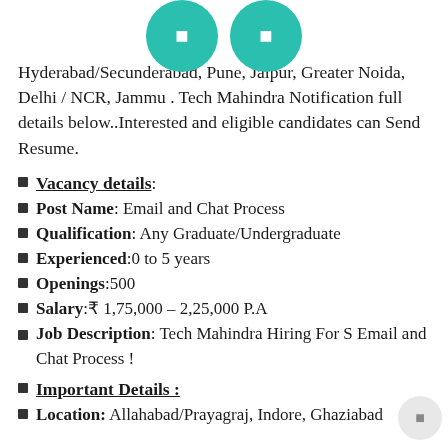Hyderabad/Secunderabad, Pune, Jaipur, Greater Noida, Delhi / NCR, Jammu . Tech Mahindra Notification full details below..Interested and eligible candidates can Send Resume.
Vacancy details:
Post Name: Email and Chat Process
Qualification: Any Graduate/Undergraduate
Experienced:0 to 5 years
Openings:500
Salary:₹ 1,75,000 – 2,25,000 P.A
Job Description: Tech Mahindra Hiring For S Email and Chat Process !
Important Details :
Location: Allahabad/Prayagraj, Indore, Ghaziabad